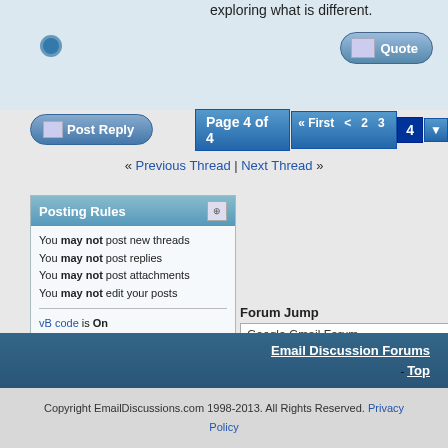exploring what is different.
Post Reply | Page 4 of 4 « First < 2 3 4
« Previous Thread | Next Thread »
Posting Rules
You may not post new threads
You may not post replies
You may not post attachments
You may not edit your posts
vB code is On
Smilies are On
[IMG] code is Off
HTML code is Off
Forum Jump
Google Gmail Forum
All times are GMT +9. The time now is 06:23 PM.
Email Discussion Forums - Top
Copyright EmailDiscussions.com 1998-2013. All Rights Reserved. Privacy Policy